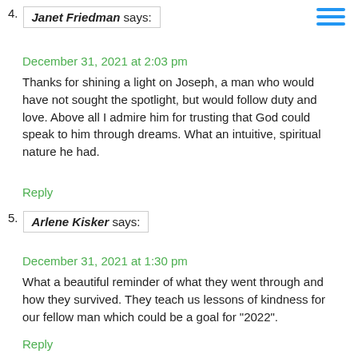4. Janet Friedman says:
December 31, 2021 at 2:03 pm
Thanks for shining a light on Joseph, a man who would have not sought the spotlight, but would follow duty and love. Above all I admire him for trusting that God could speak to him through dreams. What an intuitive, spiritual nature he had.
Reply
5. Arlene Kisker says:
December 31, 2021 at 1:30 pm
What a beautiful reminder of what they went through and how they survived. They teach us lessons of kindness for our fellow man which could be a goal for "2022".
Reply